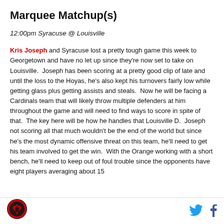Marquee Matchup(s)
12:00pm Syracuse @ Louisville
Kris Joseph and Syracuse lost a pretty tough game this week to Georgetown and have no let up since they're now set to take on Louisville.  Joseph has been scoring at a pretty good clip of late and until the loss to the Hoyas, he's also kept his turnovers fairly low while getting glass plus getting assists and steals.  Now he will be facing a Cardinals team that will likely throw multiple defenders at him throughout the game and will need to find ways to score in spite of that.  The key here will be how he handles that Louisville D.  Joseph not scoring all that much wouldn't be the end of the world but since he's the most dynamic offensive threat on this team, he'll need to get his team involved to get the win.  With the Orange working with a short bench, he'll need to keep out of foul trouble since the opponents have eight players averaging about 15
[Figure (logo): Site logo: circular red and black badge with bird emblem]
[Figure (logo): Twitter bird icon in blue]
[Figure (logo): Facebook f icon in dark blue]